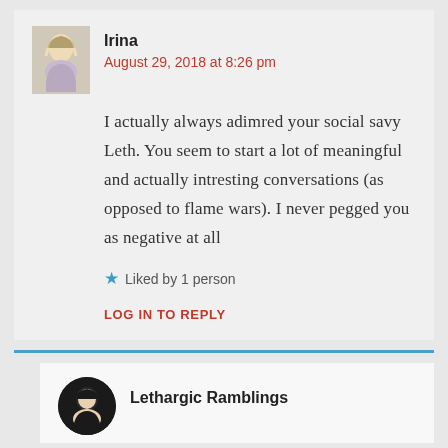Irina
August 29, 2018 at 8:26 pm
I actually always adimred your social savy Leth. You seem to start a lot of meaningful and actually intresting conversations (as opposed to flame wars). I never pegged you as negative at all
Liked by 1 person
LOG IN TO REPLY
Lethargic Ramblings